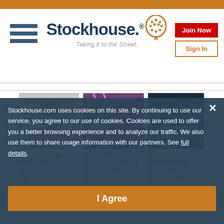[Figure (screenshot): Stockhouse website screenshot showing logo, navigation header, carousel of news articles, and cookie consent overlay]
Stockhouse. Taking it to the Street.
Join Now
Sign In
Saturn Oil & Gas (TSXV:SOIL) sees record quarterly cash flow
Jourdan (TSXV:JOR) begins phase 3 drilling at its Vallée Lithium Project
Pasofino Gold (TSXV:VEIN) re results of initial fieldwork at Bu
Stockhouse.com uses cookies on this site. By continuing to use our service, you agree to our use of cookies. Cookies are used to offer you a better browsing experience and to analyze our traffic. We also use them to share usage information with our partners. See full details.
I Agree